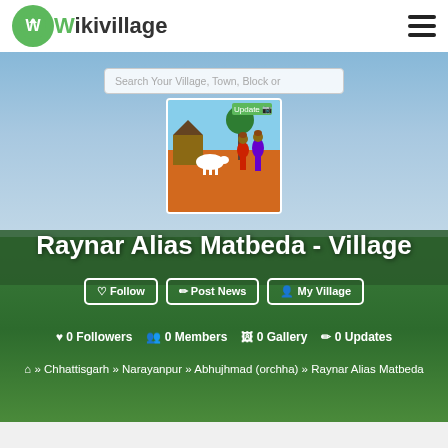Wikivillage
Search Your Village, Town, Block or
[Figure (illustration): Village scene illustration showing two women in colorful saris carrying pots on their heads, with a white cow and thatched huts in the background]
Raynar Alias Matbeda - Village
Follow | Post News | My Village
0 Followers  0 Members  0 Gallery  0 Updates
Home >> Chhattisgarh >> Narayanpur >> Abhujhmad (orchha) >> Raynar Alias Matbeda